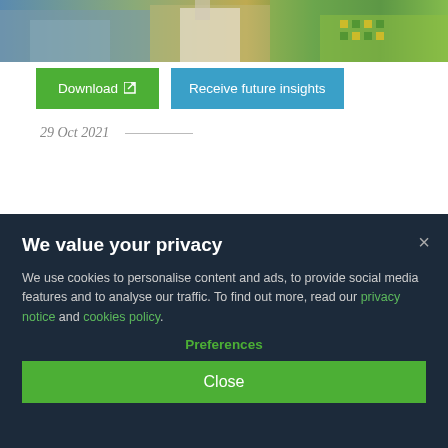[Figure (photo): Aerial or elevated view of a European city with ornate building rooftops and colorful tile patterns, likely Vienna with St. Stephen's Cathedral visible]
Download
Receive future insights
29 Oct 2021
We value your privacy
We use cookies to personalise content and ads, to provide social media features and to analyse our traffic. To find out more, read our privacy notice and cookies policy.
Preferences
Close